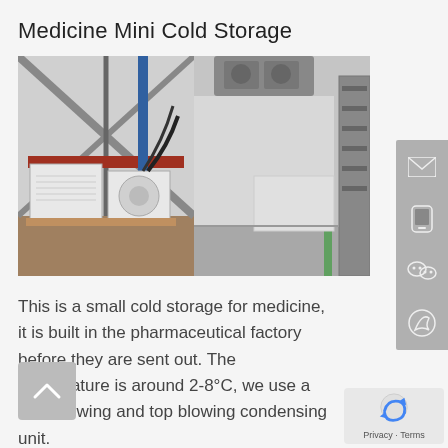Medicine Mini Cold Storage
[Figure (photo): Two photos side by side: left photo shows outdoor HVAC/condensing units (white boxes) installed outside a building with a diagonal truss structure; right photo shows the interior of a cold storage room with equipment on ceiling and shelving along the wall.]
This is a small cold storage for medicine, it is built in the pharmaceutical factory before they are sent out. The temperature is around 2-8°C, we use a side blowing and top blowing condensing unit.